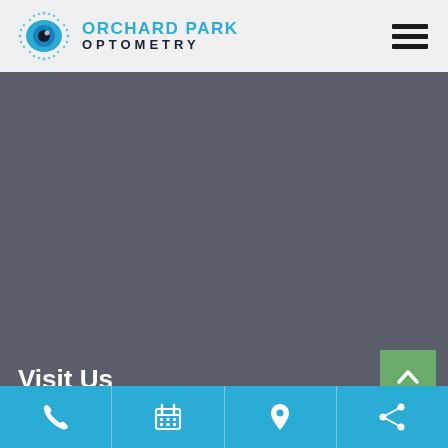[Figure (logo): Orchard Park Optometry logo with an eye graphic and text 'ORCHARD PARK OPTOMETRY']
[Figure (illustration): Hamburger menu icon (three horizontal lines) in top right corner]
[Figure (photo): Large dark grey background image area occupying most of the page]
Visit Us
Let our family take care of your family. We're
[Figure (infographic): Green scroll-to-top button with upward chevron arrow]
[Figure (infographic): Blue action bar with four icons: phone, calendar, location pin, share]